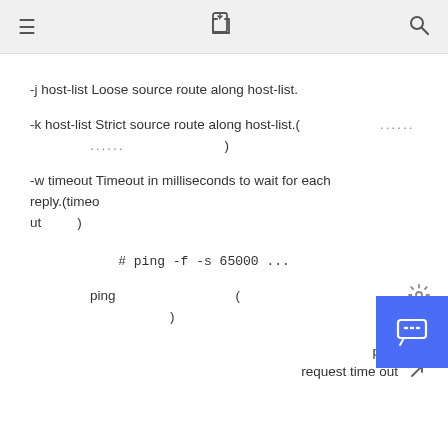≡  [share icon]  🔍
-j host-list Loose source route along host-list.
-k host-list Strict source route along host-list.(　　　　　　……　　　　　　……　　　　　　)
-w timeout Timeout in milliseconds to wait for each reply.(timeout　　　)
# ping -f -s 65000 ...
ping　　　　　　　　　(　　　　　　)
ping　　　　　　　　　　request time out